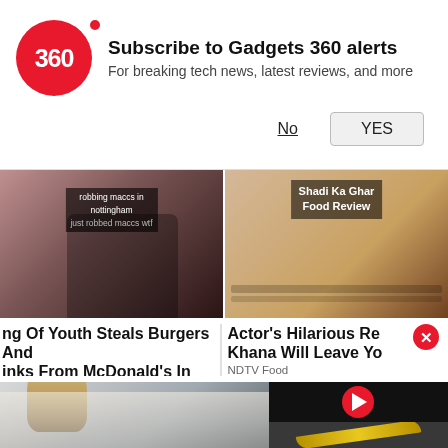[Figure (screenshot): Gadgets 360 notification banner with red circle logo showing '360', bold text 'Subscribe to Gadgets 360 alerts', subtitle 'For breaking tech news, latest reviews, and more', and two buttons: 'No' (underlined) and 'YES' (button)]
[Figure (screenshot): Two video thumbnails side by side. Left: dark video still with text overlay 'robbing maccs in nottingham just robbed maccs wtf'. Right: food video thumbnail with text 'Shadi Ka Ghar Food Review'.]
ng Of Youth Steals Burgers And inks From McDonald's In UK
NDTV Food
Actor's Hilarious Re Khana Will Leave Yo
NDTV Food
[Figure (screenshot): Bottom section: left side shows photo of older man with grey hair and glasses in a corridor. Right side shows a video player with black background and red play button, and below it a dark pan with banana.]